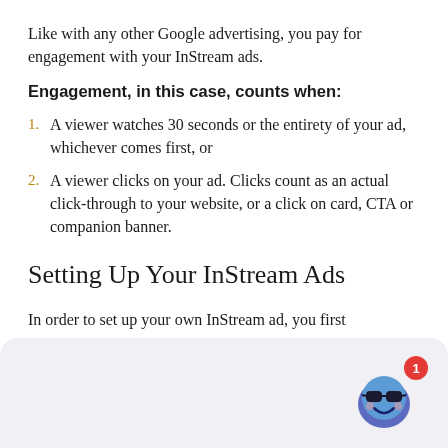Like with any other Google advertising, you pay for engagement with your InStream ads.
Engagement, in this case, counts when:
1. A viewer watches 30 seconds or the entirety of your ad, whichever comes first, or
2. A viewer clicks on your ad. Clicks count as an actual click-through to your website, or a click on card, CTA or companion banner.
Setting Up Your InStream Ads
In order to set up your own InStream ad, you first
[Figure (illustration): Blue cartoon character with sunglasses chat bot icon with red notification badge showing number 1]